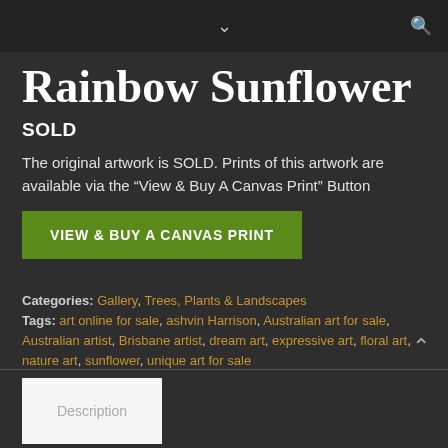Navigation bar with chevron and search icon
Rainbow Sunflower
SOLD
The original artwork is SOLD. Prints of this artwork are available via the “View & Buy A Canvas Print” Button
VIEW & BUY A CANVAS PRINT
Categories: Gallery, Trees, Plants & Landscapes
Tags: art online for sale, ashvin Harrison, Australian art for sale, Australian artist, Brisbane artist, dream art, expressive art, floral art, nature art, sunflower, unique art for sale
Description